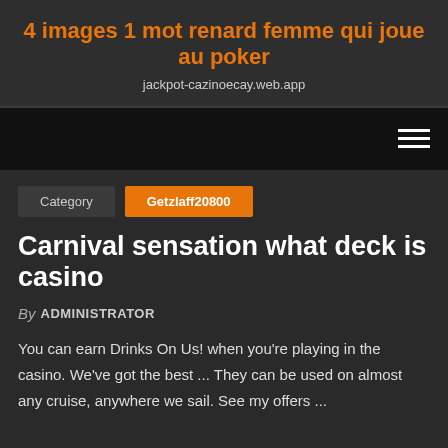4 images 1 mot renard femme qui joue au poker
jackpot-cazinoecay.web.app
Category  Getzlaff20800
Carnival sensation what deck is casino
By ADMINISTRATOR
You can earn Drinks On Us! when you're playing in the casino. We've got the best ... They can be used on almost any cruise, anywhere we sail. See my offers ...